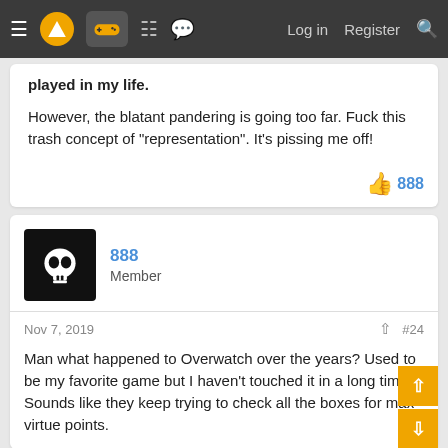Navigation bar with menu, logo, controller icon, building icon, chat icon, Log in, Register, Search
played in my life.
However, the blatant pandering is going too far. Fuck this trash concept of "representation". It's pissing me off!
👍 888
888 Member
Nov 7, 2019
#24
Man what happened to Overwatch over the years? Used to be my favorite game but I haven't touched it in a long time. Sounds like they keep trying to check all the boxes for max virtue points.